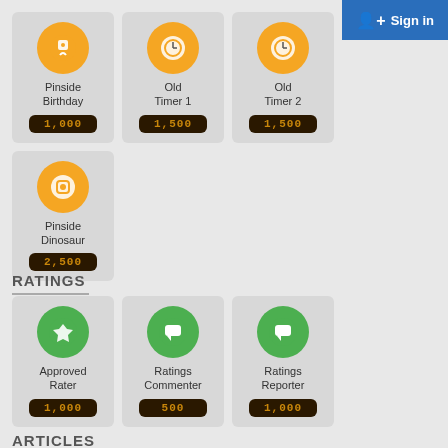[Figure (infographic): Badge cards row 1: Pinside Birthday (1,000), Old Timer 1 (1,500), Old Timer 2 (1,500) with orange circular icons]
[Figure (infographic): Badge card row 2: Pinside Dinosaur (2,500) with orange clock/watch circular icon]
RATINGS
[Figure (infographic): Ratings badge cards: Approved Rater (1,000), Ratings Commenter (500), Ratings Reporter (1,000) with green circular icons]
ARTICLES